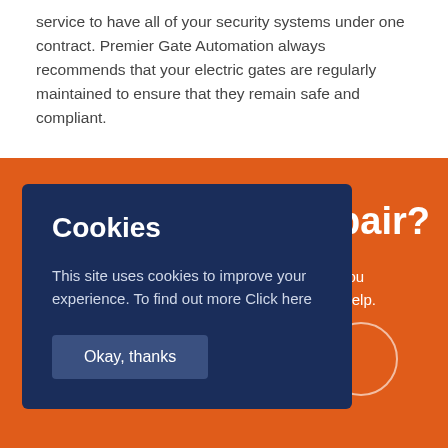service to have all of your security systems under one contract. Premier Gate Automation always recommends that your electric gates are regularly maintained to ensure that they remain safe and compliant.
repair?
future or you e here to help.
Cookies
This site uses cookies to improve your experience. To find out more Click here
Okay, thanks